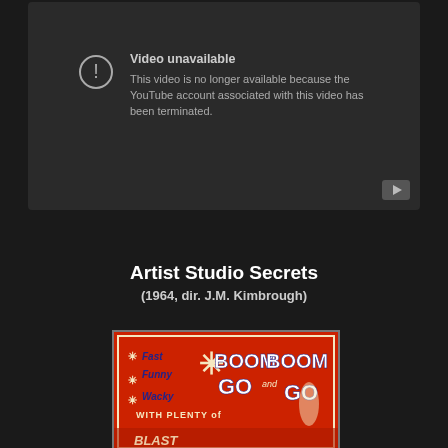[Figure (screenshot): YouTube 'Video unavailable' error screen on dark grey background with warning icon and text saying the video is no longer available because the YouTube account has been terminated. A YouTube play button icon appears in the bottom-right corner.]
Artist Studio Secrets
(1964, dir. J.M. Kimbrough)
[Figure (photo): Movie poster for 'Boom Boom and Go' on a red background. Text reads: 'Fast Funny Wacky' on the left with asterisks, and 'BOOM BOOM and GO' in large white and blue letters, 'WITH PLENTY of' below, and partial text at the bottom. A stylized figure is visible on the right side.]